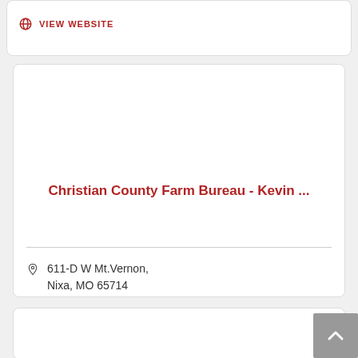VIEW WEBSITE
Christian County Farm Bureau - Kevin ...
611-D W Mt.Vernon, Nixa, MO 65714
(417) 725-1467